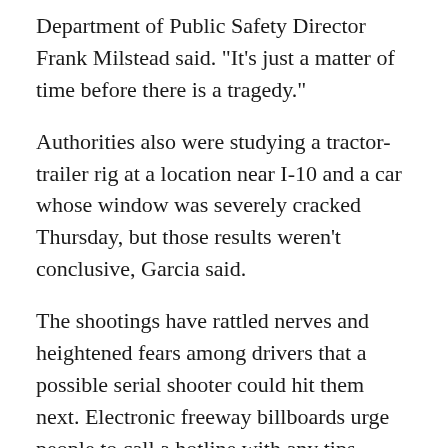Department of Public Safety Director Frank Milstead said. "It's just a matter of time before there is a tragedy."
Authorities also were studying a tractor-trailer rig at a location near I-10 and a car whose window was severely cracked Thursday, but those results weren't conclusive, Garcia said.
The shootings have rattled nerves and heightened fears among drivers that a possible serial shooter could hit them next. Electronic freeway billboards urge people to call a hotline with any tips. Some are commuting on city streets instead.
"I go through the streets when I go home," said Juan Campana, who works an appliance business in the area